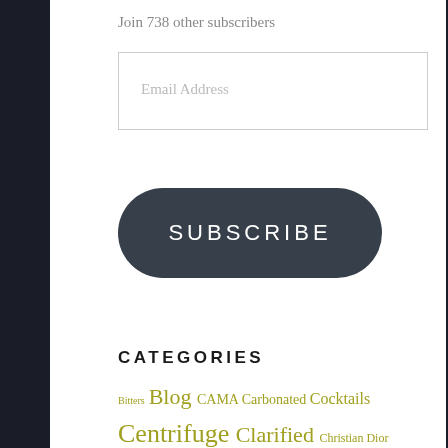Join 738 other subscribers
[Figure (screenshot): Email address input field (white box) for newsletter subscription]
[Figure (screenshot): Dark rounded SUBSCRIBE button]
[Figure (photo): Close-up photo of a cocktail drink with orange spheres/bubbles floating in a clear glass]
CATEGORIES
Bitters Blog CAMA Carbonated Cocktails Centrifuge Clarified Christian Dior Cocktails Dave Arnold Events Featured Cocktails... French Gallery...